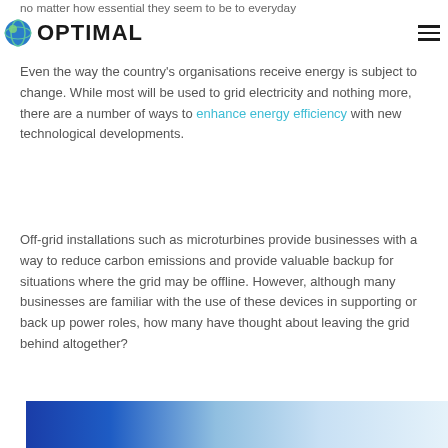no matter how essential they seem to be to everyday
[Figure (logo): Optimal company logo with circular globe icon and bold text OPTIMAL]
Even the way the country's organisations receive energy is subject to change. While most will be used to grid electricity and nothing more, there are a number of ways to enhance energy efficiency with new technological developments.
Off-grid installations such as microturbines provide businesses with a way to reduce carbon emissions and provide valuable backup for situations where the grid may be offline. However, although many businesses are familiar with the use of these devices in supporting or back up power roles, how many have thought about leaving the grid behind altogether?
[Figure (photo): Bottom banner image showing a blue gradient from dark blue to light blue/white, suggesting sky or energy-related imagery]